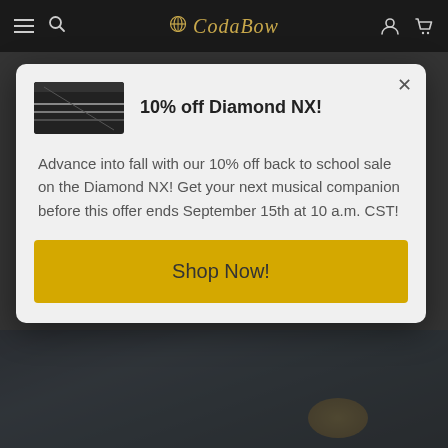CodaBow navigation bar with hamburger menu, search, globe+CodaBow logo, user icon, cart icon
10% off Diamond NX!
Advance into fall with our 10% off back to school sale on the Diamond NX! Get your next musical companion before this offer ends September 15th at 10 a.m. CST!
Shop Now!
[Figure (photo): Bottom portion of a dark webpage showing a musical instrument (bow/strings) with dark blue and gold tones]